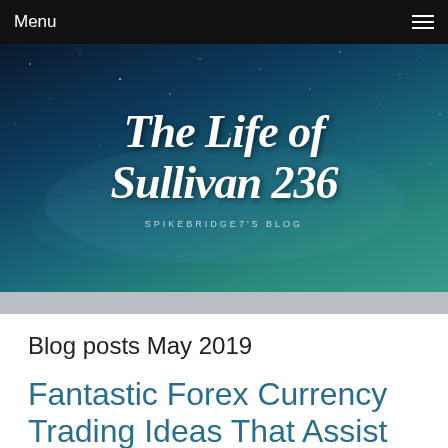Menu
[Figure (illustration): Blog header banner with dark starry night sky background. Cursive white text reads 'The Life of Sullivan 236' with subtitle 'SPIKEBRIDGE7'S BLOG']
The Life of Sullivan 236
SPIKEBRIDGE7'S BLOG
Blog posts May 2019
Fantastic Forex Currency Trading Ideas That Assist You